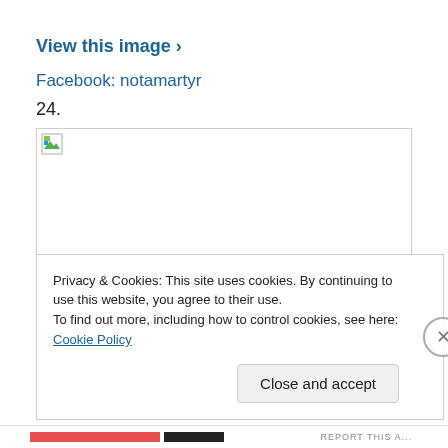View this image ›
Facebook: notamartyr
24.
[Figure (other): Broken/placeholder image icon with a border, image failed to load]
Privacy & Cookies: This site uses cookies. By continuing to use this website, you agree to their use.
To find out more, including how to control cookies, see here: Cookie Policy
Close and accept